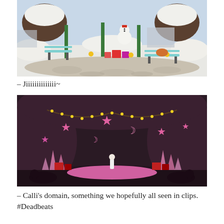[Figure (screenshot): A video game screenshot showing a snowy park scene with benches, gift boxes, sunflowers, snow-covered trees, stone paving, and green lamp posts. Bright daytime setting.]
– Jiiiiiiiiiiiiii~
[Figure (screenshot): A video game screenshot showing a dark cave or underground venue decorated with pink stars, crescent moons, string lights with yellow bulbs, pink crystal formations, gift boxes, and a small figure on a pink stage. Dark purple/brown tones.]
– Calli's domain, something we hopefully all seen in clips. #Deadbeats